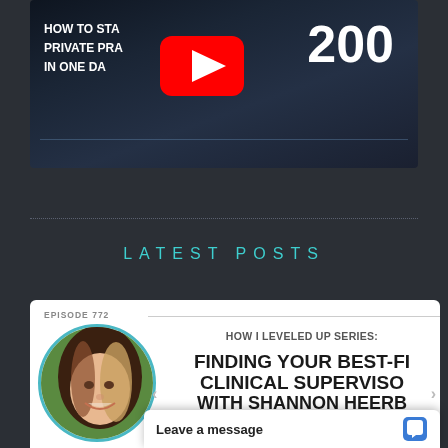[Figure (screenshot): YouTube video thumbnail showing 'How to Start a Private Practice in One Day' with the number 200 visible and a YouTube play button overlay]
LATEST POSTS
[Figure (screenshot): Blog post card for Episode 772 - 'How I Leveled Up Series: Finding Your Best-Fit Clinical Supervisor with Shannon Heers' with a circular profile photo of a smiling woman with brown and blonde hair]
Leave a message